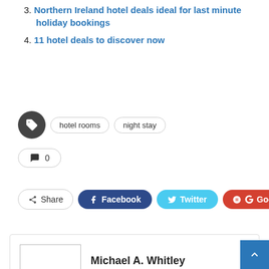3. Northern Ireland hotel deals ideal for last minute holiday bookings
4. 11 hotel deals to discover now
Tags: hotel rooms, night stay
Comments: 0
Share | Facebook | Twitter | Google+ | +
Michael A. Whitley
PREV POST Hot Hotel Deals To Get
NEXT POST How NSW's border